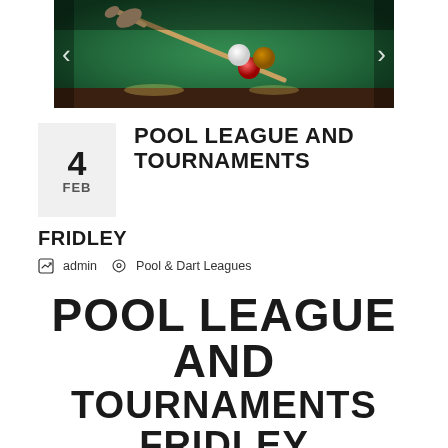[Figure (photo): Photo of a pool/billiards table with balls and cue, green felt surface, dimly lit bar atmosphere]
POOL LEAGUE AND TOURNAMENTS
4
FEB
FRIDLEY
admin   Pool & Dart Leagues
POOL LEAGUE AND TOURNAMENTS FRIDLEY